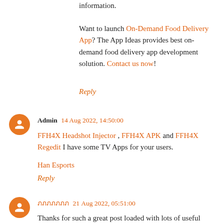information.
Want to launch On-Demand Food Delivery App? The App Ideas provides best on-demand food delivery app development solution. Contact us now!
Reply
Admin  14 Aug 2022, 14:50:00
FFH4X Headshot Injector , FFH4X APK and FFH4X Regedit I have some TV Apps for your users.
Han Esports
Reply
ภภภภภภภ  21 Aug 2022, 05:51:00
Thanks for such a great post loaded with lots of useful information. You can also check If you are looking t